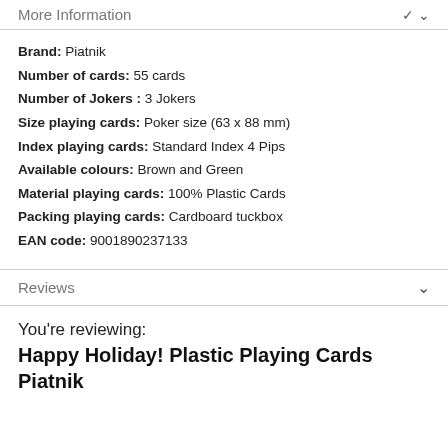More Information
Brand:  Piatnik
Number of cards:  55 cards
Number of Jokers :  3 Jokers
Size playing cards:  Poker size (63 x 88 mm)
Index playing cards:  Standard Index 4 Pips
Available colours:  Brown and Green
Material playing cards:  100% Plastic Cards
Packing playing cards:  Cardboard tuckbox
EAN code:  9001890237133
Reviews
You're reviewing:
Happy Holiday! Plastic Playing Cards Piatnik